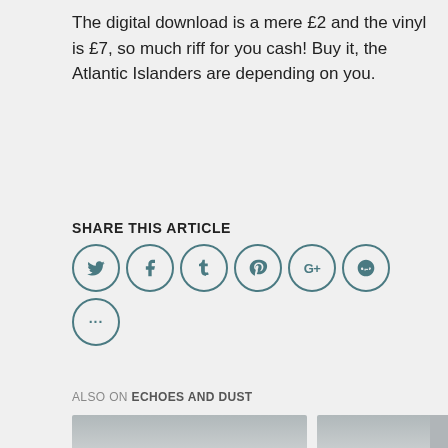The digital download is a mere £2 and the vinyl is £7, so much riff for you cash! Buy it, the Atlantic Islanders are depending on you.
SHARE THIS ARTICLE
[Figure (infographic): Row of social share icon circles: Twitter (bird), Facebook (f), Tumblr (t), Pinterest (p), Google+ (G+), Reddit (alien), and a second row with an ellipsis (...)]
ALSO ON ECHOES AND DUST
[Figure (infographic): Two article preview cards side by side with gradient grey backgrounds, left/right navigation arrows, and overlaid text showing 'a year ago • 1 comment' and partial article titles 'Noctule' and 'Wu-Lung']